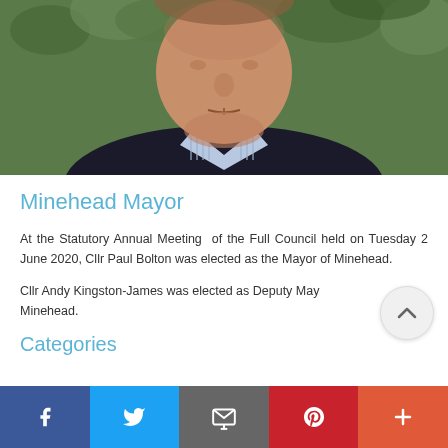[Figure (photo): Close-up photo of a man in a striped shirt and dark jacket, with greenery visible in the background. The photo shows his face and upper chest area.]
Minehead Mayor
At the Statutory Annual Meeting of the Full Council held on Tuesday 2 June 2020, Cllr Paul Bolton was elected as the Mayor of Minehead.
Cllr Andy Kingston-James was elected as Deputy Mayor of Minehead.
Categories